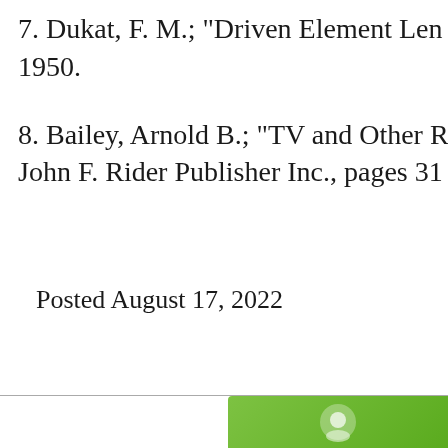7. Dukat, F. M.; "Driven Element Len... 1950.
8. Bailey, Arnold B.; "TV and Other R... John F. Rider Publisher Inc., pages 31...
Posted August 17, 2022